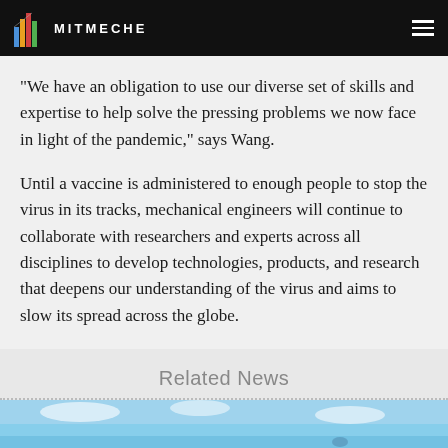MITMECHE
“We have an obligation to use our diverse set of skills and expertise to help solve the pressing problems we now face in light of the pandemic,” says Wang.
Until a vaccine is administered to enough people to stop the virus in its tracks, mechanical engineers will continue to collaborate with researchers and experts across all disciplines to develop technologies, products, and research that deepens our understanding of the virus and aims to slow its spread across the globe.
Related News
[Figure (photo): Related news image strip showing sky and outdoor scene at bottom of page]